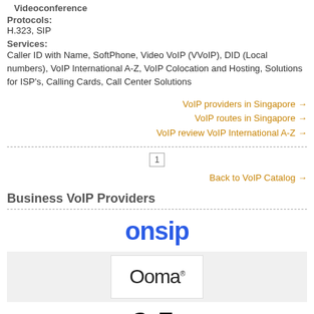Videoconference
Protocols:
H.323, SIP
Services:
Caller ID with Name, SoftPhone, Video VoIP (VVoIP), DID (Local numbers), VoIP International A-Z, VoIP Colocation and Hosting, Solutions for ISP's, Calling Cards, Call Center Solutions
VoIP providers in Singapore →
VoIP routes in Singapore →
VoIP review VoIP International A-Z →
1
Back to VoIP Catalog →
Business VoIP Providers
[Figure (logo): OnSIP logo in blue bold text]
[Figure (logo): Ooma logo in white box on grey background]
[Figure (logo): GoTo logo in bold black text]